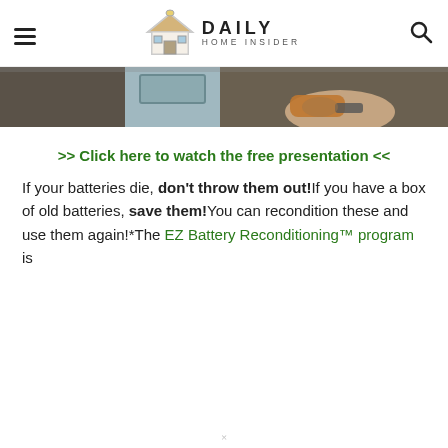Daily Home Insider
[Figure (photo): Partial photo strip showing a person holding a power tool (drill) near a door, with a tattooed arm visible. Dark background.]
>> Click here to watch the free presentation <<
If your batteries die, don't throw them out!If you have a box of old batteries, save them!You can recondition these and use them again!*The EZ Battery Reconditioning™ program is